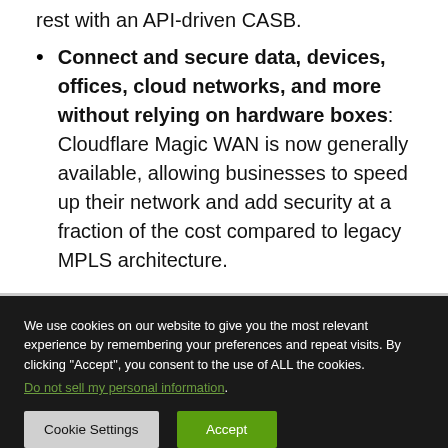rest with an API-driven CASB.
Connect and secure data, devices, offices, cloud networks, and more without relying on hardware boxes: Cloudflare Magic WAN is now generally available, allowing businesses to speed up their network and add security at a fraction of the cost compared to legacy MPLS architecture.
We use cookies on our website to give you the most relevant experience by remembering your preferences and repeat visits. By clicking "Accept", you consent to the use of ALL the cookies.
Do not sell my personal information.